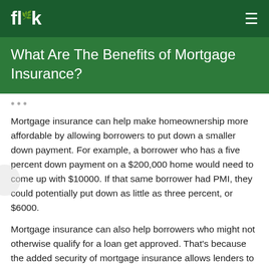flik
What Are The Benefits of Mortgage Insurance?
Mortgage insurance can help make homeownership more affordable by allowing borrowers to put down a smaller down payment. For example, a borrower who has a five percent down payment on a $200,000 home would need to come up with $10000. If that same borrower had PMI, they could potentially put down as little as three percent, or $6000.
Mortgage insurance can also help borrowers who might not otherwise qualify for a loan get approved. That's because the added security of mortgage insurance allows lenders to take on more risk when approving loans.